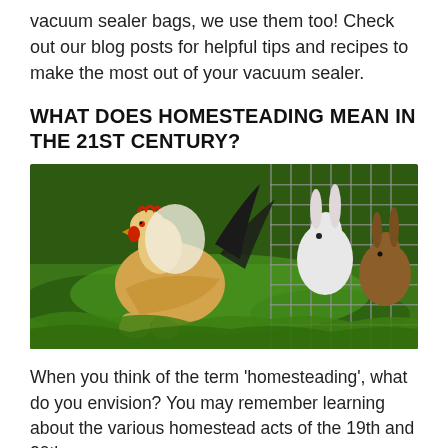vacuum sealer bags, we use them too! Check out our blog posts for helpful tips and recipes to make the most out of your vacuum sealer.
WHAT DOES HOMESTEADING MEAN IN THE 21ST CENTURY?
[Figure (photo): A hen with chicks foraging in green grass next to a wire fence enclosure where rabbits are visible.]
When you think of the term 'homesteading', what do you envision? You may remember learning about the various homestead acts of the 19th and 20th